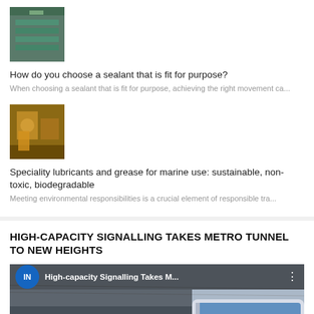[Figure (photo): Thumbnail image of sealant/construction product]
How do you choose a sealant that is fit for purpose?
When choosing a sealant that is fit for purpose, achieving the right movement ca...
[Figure (photo): Thumbnail image of marine lubricants/grease in industrial setting]
Speciality lubricants and grease for marine use: sustainable, non-toxic, biodegradable
Meeting environmental responsibilities is a crucial element of responsible tra...
HIGH-CAPACITY SIGNALLING TAKES METRO TUNNEL TO NEW HEIGHTS
[Figure (screenshot): YouTube video embed showing High-capacity Signalling Takes Metro Tunnel to New Heights video with train image in background. Bottom bar shows navigation arrows with text 'Level crossing removal begins' and 'Contractor announced for Gold Coast ro...']